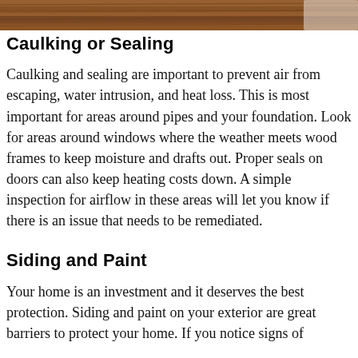[Figure (photo): Partial view of wooden flooring or decking with warm brown tones visible at the top of the page]
Caulking or Sealing
Caulking and sealing are important to prevent air from escaping, water intrusion, and heat loss. This is most important for areas around pipes and your foundation. Look for areas around windows where the weather meets wood frames to keep moisture and drafts out. Proper seals on doors can also keep heating costs down. A simple inspection for airflow in these areas will let you know if there is an issue that needs to be remediated.
Siding and Paint
Your home is an investment and it deserves the best protection. Siding and paint on your exterior are great barriers to protect your home. If you notice signs of